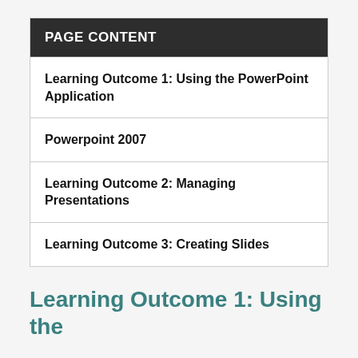| PAGE CONTENT |
| --- |
| Learning Outcome 1: Using the PowerPoint Application |
| Powerpoint 2007 |
| Learning Outcome 2: Managing Presentations |
| Learning Outcome 3: Creating Slides |
Learning Outcome 1: Using the